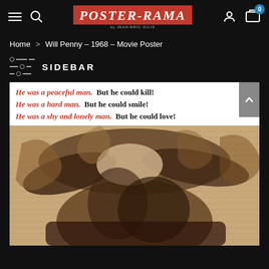Poster-Rama — Navigation bar with hamburger menu, search, logo, user icon, cart (0)
Home > Will Penny – 1968 – Movie Poster
SIDEBAR
[Figure (photo): Movie poster for Will Penny (1968). White banner with red italic and black bold text taglines: 'He was a peaceful man. But he could kill! He was a hard man. But he could smile! He was a shy and lonely man. But he could love!' Below is a sepia-toned image of a cowboy figure in a wide-brimmed hat.]